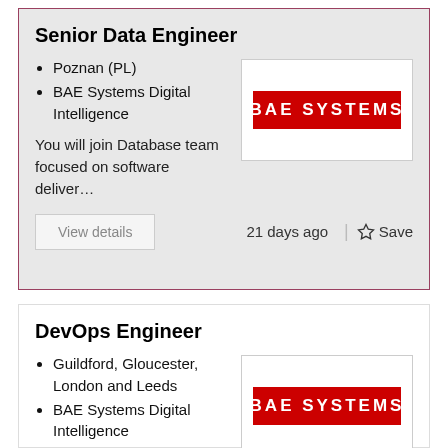Senior Data Engineer
Poznan (PL)
BAE Systems Digital Intelligence
[Figure (logo): BAE SYSTEMS logo, red background with white bold text]
You will join Database team focused on software deliver…
View details   21 days ago  |  ☆ Save
DevOps Engineer
Guildford, Gloucester, London and Leeds
BAE Systems Digital Intelligence
[Figure (logo): BAE SYSTEMS logo, red background with white bold text]
You will work on the design build, test and deployment of…